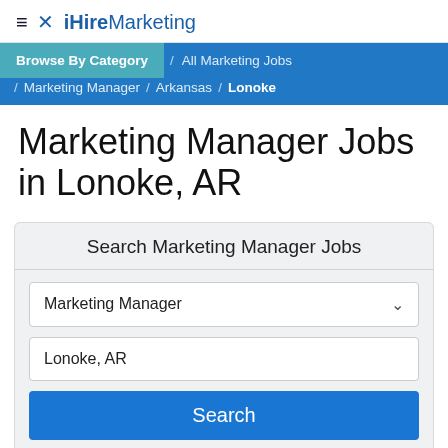≡ ✕ iHireMarketing
Browse By Category / All Marketing Jobs / Marketing Manager / Arkansas / Lonoke
Marketing Manager Jobs in Lonoke, AR
Search Marketing Manager Jobs
Marketing Manager
Lonoke, AR
Search